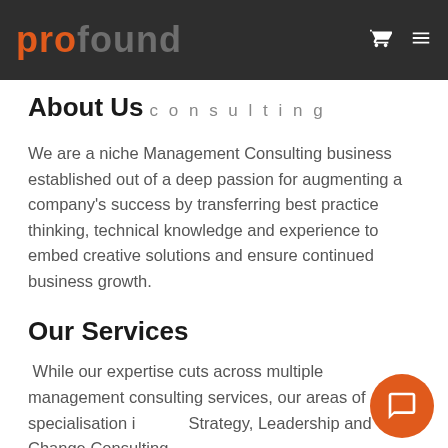profound consulting
About Us consulting
We are a niche Management Consulting business established out of a deep passion for augmenting a company's success by transferring best practice thinking, technical knowledge and experience to embed creative solutions and ensure continued business growth.
Our Services
While our expertise cuts across multiple management consulting services, our areas of specialisation include Strategy, Leadership and Change Consulting.